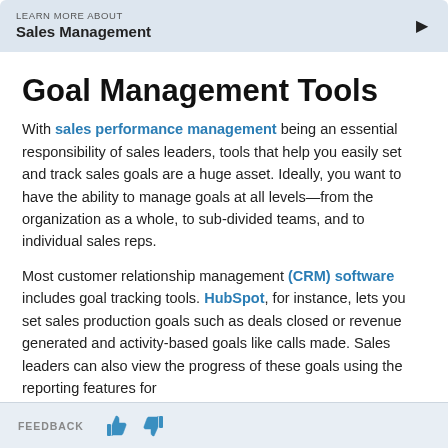LEARN MORE ABOUT
Sales Management
Goal Management Tools
With sales performance management being an essential responsibility of sales leaders, tools that help you easily set and track sales goals are a huge asset. Ideally, you want to have the ability to manage goals at all levels—from the organization as a whole, to sub-divided teams, and to individual sales reps.
Most customer relationship management (CRM) software includes goal tracking tools. HubSpot, for instance, lets you set sales production goals such as deals closed or revenue generated and activity-based goals like calls made. Sales leaders can also view the progress of these goals using the reporting features for
FEEDBACK